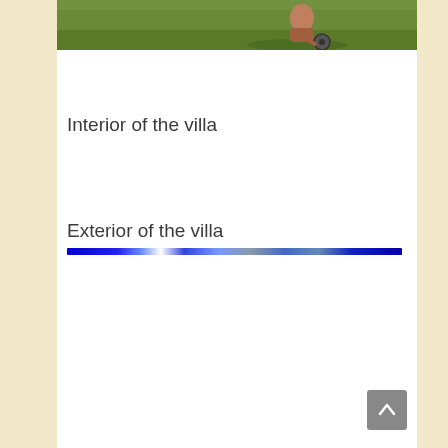[Figure (photo): Bottom portion of a photo showing a person crouching near a wheeled object on a green grassy lawn, cropped at the top of the visible area.]
Interior of the villa
Exterior of the villa
[Figure (photo): A blue horizontal decorative line or image strip, appearing as a narrow band with blue tones and some lighter areas, possibly a partial image of sky or water.]